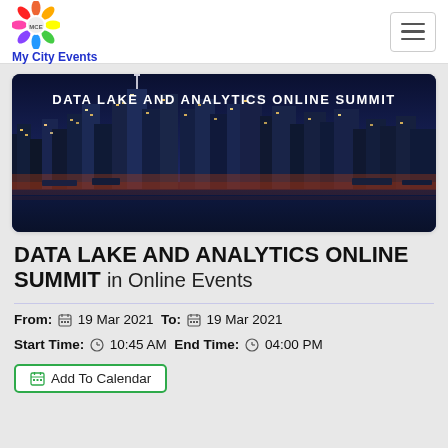My City Events
[Figure (photo): Night skyline of a city with skyscrapers reflected in water. Text overlay reads DATA LAKE AND ANALYTICS ONLINE SUMMIT.]
DATA LAKE AND ANALYTICS ONLINE SUMMIT in Online Events
From: 19 Mar 2021 To: 19 Mar 2021
Start Time: 10:45 AM End Time: 04:00 PM
Add To Calendar